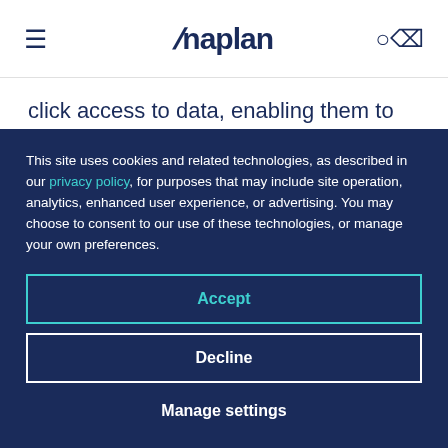Anaplan
click access to data, enabling them to deliver accurate, real-time forecasts.
“We needed a new planning solution, and I knew we
This site uses cookies and related technologies, as described in our privacy policy, for purposes that may include site operation, analytics, enhanced user experience, or advertising. You may choose to consent to our use of these technologies, or manage your own preferences.
Accept
Decline
Manage settings